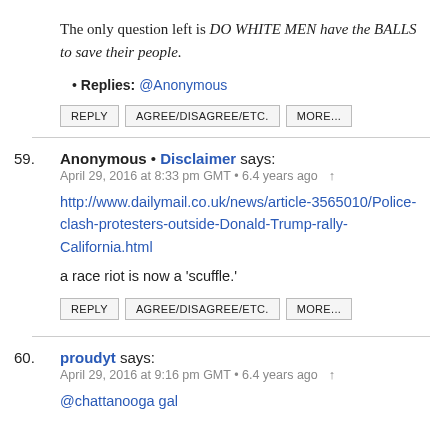The only question left is DO WHITE MEN have the BALLS to save their people.
Replies: @Anonymous
REPLY | AGREE/DISAGREE/ETC. | MORE...
59. Anonymous • Disclaimer says: April 29, 2016 at 8:33 pm GMT • 6.4 years ago
http://www.dailymail.co.uk/news/article-3565010/Police-clash-protesters-outside-Donald-Trump-rally-California.html
a race riot is now a 'scuffle.'
REPLY | AGREE/DISAGREE/ETC. | MORE...
60. proudyt says: April 29, 2016 at 9:16 pm GMT • 6.4 years ago
@chattanooga gal